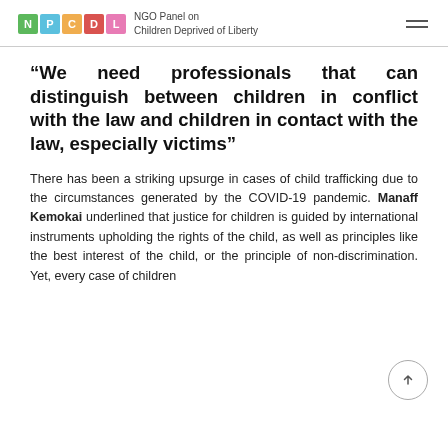NGO Panel on Children Deprived of Liberty
“We need professionals that can distinguish between children in conflict with the law and children in contact with the law, especially victims”
There has been a striking upsurge in cases of child trafficking due to the circumstances generated by the COVID-19 pandemic. Manaff Kemokai underlined that justice for children is guided by international instruments upholding the rights of the child, as well as principles like the best interest of the child, or the principle of non-discrimination. Yet, every case of children